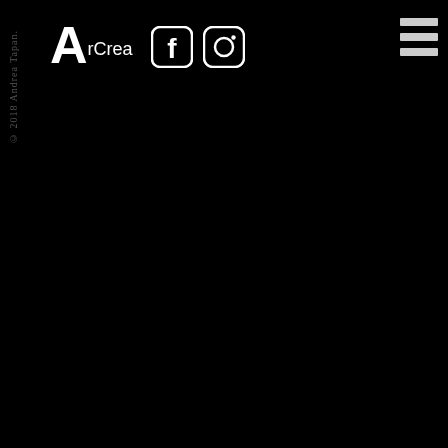[Figure (logo): ArCrea logo with large white stylized A and 'rCrea' text, followed by Facebook and Instagram white icons, and a hamburger menu icon in top right]
© 2018 Andrea Tapan.